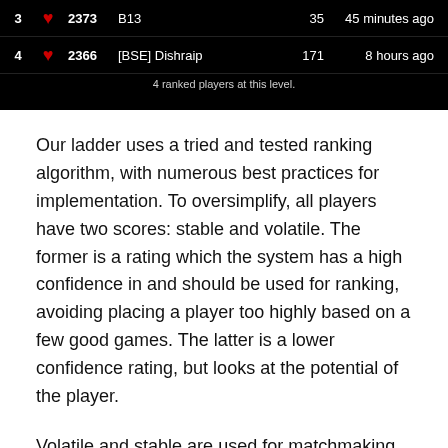[Figure (screenshot): A dark leaderboard screenshot showing ranked players. Row 3: rank 3, score 2373, name B13, 35 wins, 45 minutes ago. Row 4: rank 4, score 2366, name [BSE] Dishraip, 171 wins, 8 hours ago. Caption: 4 ranked players at this level.]
Our ladder uses a tried and tested ranking algorithm, with numerous best practices for implementation. To oversimplify, all players have two scores: stable and volatile. The former is a rating which the system has a high confidence in and should be used for ranking, avoiding placing a player too highly based on a few good games. The latter is a lower confidence rating, but looks at the potential of the player.
Volatile and stable are used for matchmaking to find opponents of the right difficulty. Think of stable as reflecting how good we know you are, while volatile is how good you might be. Over time these two ratings will converge.
During work to migrate to PAnet we have been examining the